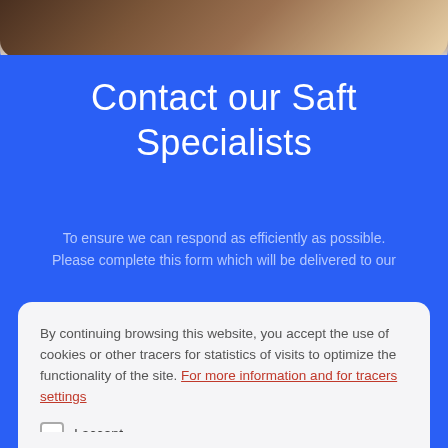[Figure (photo): Top portion of a webpage showing a wood-textured image at the top, cropped with rounded bottom corners]
Contact our Saft Specialists
To ensure we can respond as efficiently as possible. Please complete this form which will be delivered to our
By continuing browsing this website, you accept the use of cookies or other tracers for statistics of visits to optimize the functionality of the site. For more information and for tracers settings
I accept